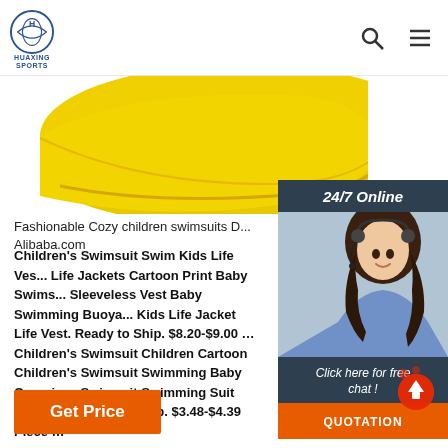HUAXING SPORTS
[Figure (photo): Yellow children's swimsuit product image cropped at the top]
[Figure (photo): 24/7 Online customer service agent panel with headset-wearing woman, 'Click here for free chat!' text and QUOTATION button]
Fashionable Cozy children swimsuits D... Alibaba.com
Children's Swimsuit Swim Kids Life Ves... Life Jackets Cartoon Print Baby Swims... Sleeveless Vest Baby Swimming Buoya... Kids Life Jacket Life Vest. Ready to Ship. $8.20-$9.00 ... Children's Swimsuit Children Cartoon Children's Swimsuit Swimming Baby One-piece Swimsuit Swimming Suit For Boys. Ready to Ship. $3.48-$4.39 Piece ...
[Figure (illustration): Scroll to top button with red circular icon]
Get Price